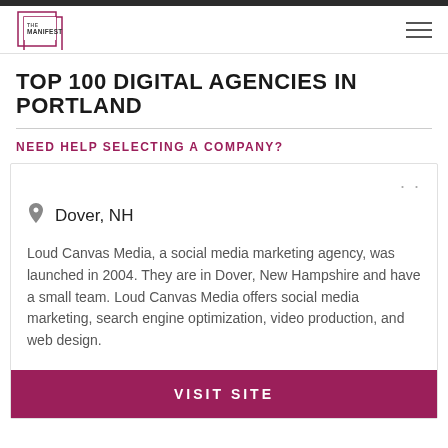THE MANIFEST
TOP 100 DIGITAL AGENCIES IN PORTLAND
NEED HELP SELECTING A COMPANY?
Dover, NH
Loud Canvas Media, a social media marketing agency, was launched in 2004. They are in Dover, New Hampshire and have a small team. Loud Canvas Media offers social media marketing, search engine optimization, video production, and web design.
VISIT SITE